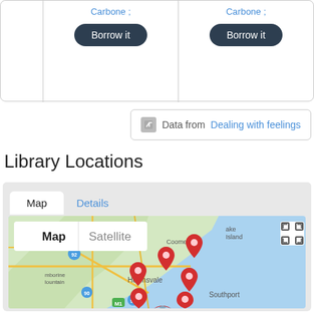Carbone ;
Borrow it
Carbone ;
Borrow it
Data from Dealing with feelings
Library Locations
[Figure (map): Google Maps showing library locations in the Gold Coast/Helensvale/Southport area with multiple red pin markers. Map/Satellite toggle buttons visible at top left. Fullscreen button at top right.]